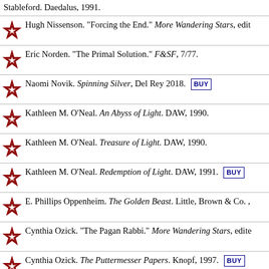Stableford. Daedalus, 1991.
Hugh Nissenson. "Forcing the End." More Wandering Stars, edit
Eric Norden. "The Primal Solution." F&SF, 7/77.
Naomi Novik. Spinning Silver, Del Rey 2018. BUY
Kathleen M. O'Neal. An Abyss of Light. DAW, 1990.
Kathleen M. O'Neal. Treasure of Light. DAW, 1990.
Kathleen M. O'Neal. Redemption of Light. DAW, 1991. BUY
E. Phillips Oppenheim. The Golden Beast. Little, Brown & Co. ,
Cynthia Ozick. "The Pagan Rabbi." More Wandering Stars, edite
Cynthia Ozick. The Puttermesser Papers. Knopf, 1997. BUY
Amiram Pal. "Masa Bemerhav Azman" ("Journey in the Dimensi... 1980.
Jon Papernick. "The Unwelcome Guest." The Ascent of Eli Israe
Severna Park. "The Golem. "Black Heart, Ivory Bones, edited by
Mike Pascale. "Kiss of the Spider Yenta." Stranger Kaddish, edit BUY